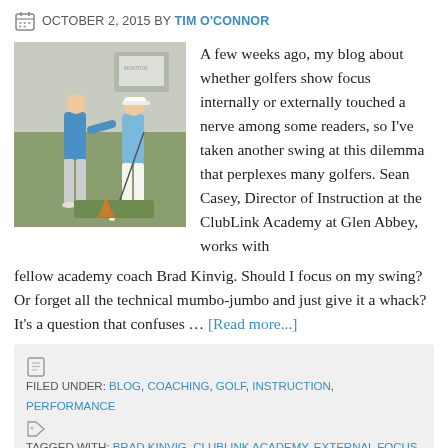OCTOBER 2, 2015 BY TIM O'CONNOR
[Figure (photo): Two golfers in an indoor golf studio; one instructor in blue shirt adjusting the other golfer's swing stance on an artificial turf mat.]
A few weeks ago, my blog about whether golfers show focus internally or externally touched a nerve among some readers, so I've taken another swing at this dilemma that perplexes many golfers. Sean Casey, Director of Instruction at the ClubLink Academy at Glen Abbey, works with fellow academy coach Brad Kinvig. Should I focus on my swing? Or forget all the technical mumbo-jumbo and just give it a whack? It's a question that confuses … [Read more...]
FILED UNDER: BLOG, COACHING, GOLF, INSTRUCTION, PERFORMANCE  TAGGED WITH: BRAD KINVIG, CLUBLINK ACADEMY, EXTERNAL FOCUS, GLEN ABBEY, INTERNAL FOCUS, MARK EVERSHED, SEAN CASEY, TONI TAYLOR